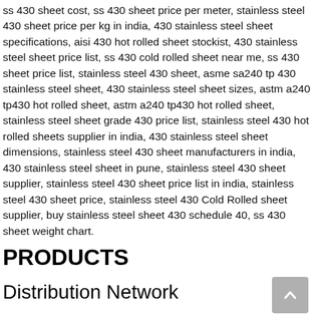ss 430 sheet cost, ss 430 sheet price per meter, stainless steel 430 sheet price per kg in india, 430 stainless steel sheet specifications, aisi 430 hot rolled sheet stockist, 430 stainless steel sheet price list, ss 430 cold rolled sheet near me, ss 430 sheet price list, stainless steel 430 sheet, asme sa240 tp 430 stainless steel sheet, 430 stainless steel sheet sizes, astm a240 tp430 hot rolled sheet, astm a240 tp430 hot rolled sheet, stainless steel sheet grade 430 price list, stainless steel 430 hot rolled sheets supplier in india, 430 stainless steel sheet dimensions, stainless steel 430 sheet manufacturers in india, 430 stainless steel sheet in pune, stainless steel 430 sheet supplier, stainless steel 430 sheet price list in india, stainless steel 430 sheet price, stainless steel 430 Cold Rolled sheet supplier, buy stainless steel sheet 430 schedule 40, ss 430 sheet weight chart.
PRODUCTS
Distribution Network